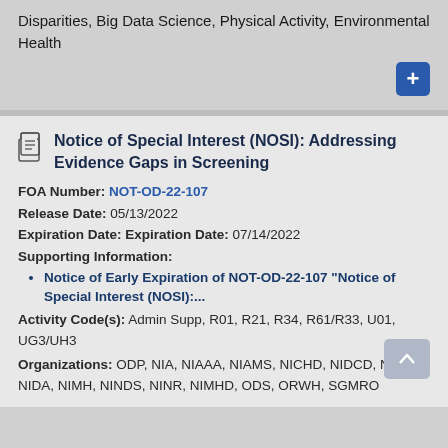Disparities, Big Data Science, Physical Activity, Environmental Health
Notice of Special Interest (NOSI): Addressing Evidence Gaps in Screening
FOA Number: NOT-OD-22-107
Release Date: 05/13/2022
Expiration Date: Expiration Date: 07/14/2022
Supporting Information:
Notice of Early Expiration of NOT-OD-22-107 “Notice of Special Interest (NOSI):...
Activity Code(s): Admin Supp, R01, R21, R34, R61/R33, U01, UG3/UH3
Organizations: ODP, NIA, NIAAA, NIAMS, NICHD, NIDCD, NIDCR, NIDA, NIMH, NINDS, NINR, NIMHD, ODS, ORWH, SGMRO